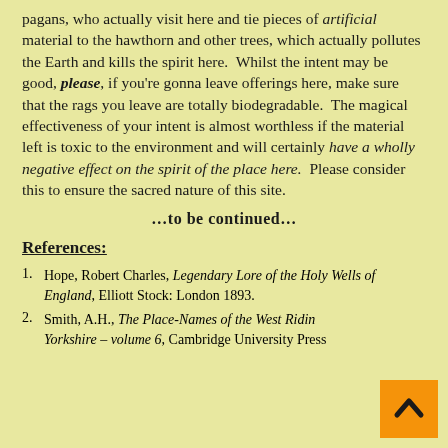pagans, who actually visit here and tie pieces of artificial material to the hawthorn and other trees, which actually pollutes the Earth and kills the spirit here.  Whilst the intent may be good, please, if you're gonna leave offerings here, make sure that the rags you leave are totally biodegradable.  The magical effectiveness of your intent is almost worthless if the material left is toxic to the environment and will certainly have a wholly negative effect on the spirit of the place here.  Please consider this to ensure the sacred nature of this site.
…to be continued…
References:
Hope, Robert Charles, Legendary Lore of the Holy Wells of England, Elliott Stock: London 1893.
Smith, A.H., The Place-Names of the West Riding Yorkshire – volume 6, Cambridge University Press